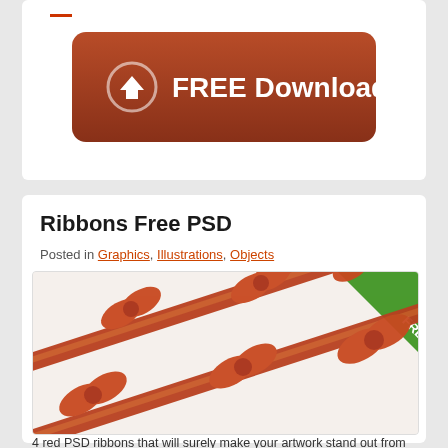[Figure (other): Dark red rounded rectangle FREE Download button with a circular arrow icon on the left]
Ribbons Free PSD
Posted in Graphics, Illustrations, Objects
[Figure (illustration): Image showing 4 diagonal red satin ribbons with decorative bows, with a green FREE corner badge]
4 red PSD ribbons that will surely make your artwork stand out from the crowd. Use these stunning web elements to design websites, presentations, collages, posters, flyers, etc. All layers are properly grouped and named. Available in high resolution (1480x2025px) Resolution: 1480x2025px File Format: PSD File